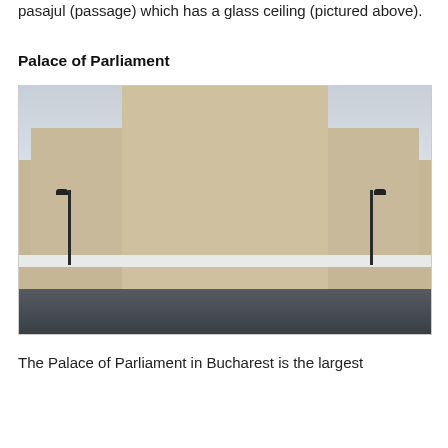pasajul (passage) which has a glass ceiling (pictured above).
Palace of Parliament
[Figure (photo): Photograph of the Palace of Parliament in Bucharest, Romania, taken in winter with snow on the ground. The massive neoclassical building is seen from the front, with two tall lamp posts in the foreground and a wide road at the bottom.]
The Palace of Parliament in Bucharest is the largest